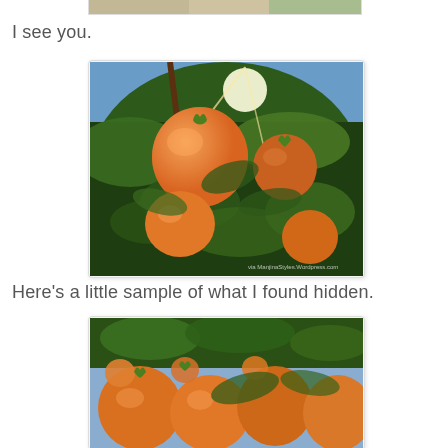[Figure (photo): Partial top edge of a photo visible at top of page, cropped]
I see you.
[Figure (photo): Close-up photo of ripe orange persimmons hanging on a tree with green and dark leaves, sunlight visible through the foliage]
Here's a little sample of what I found hidden.
[Figure (photo): Close-up photo of ripe orange persimmons clustered together with green leaves, partially visible at bottom of page]